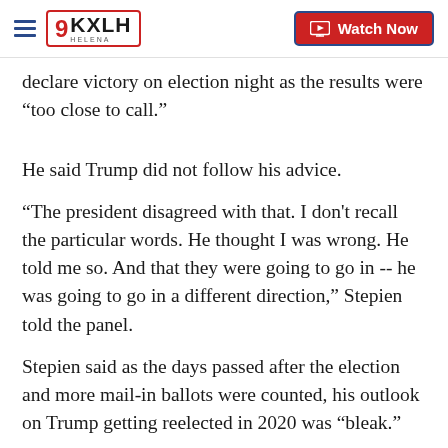9KXLH HELENA — Watch Now
declare victory on election night as the results were “too close to call.”
He said Trump did not follow his advice.
“The president disagreed with that. I don't recall the particular words. He thought I was wrong. He told me so. And that they were going to go in -- he was going to go in a different direction,” Stepien told the panel.
Stepien said as the days passed after the election and more mail-in ballots were counted, his outlook on Trump getting reelected in 2020 was “bleak.”